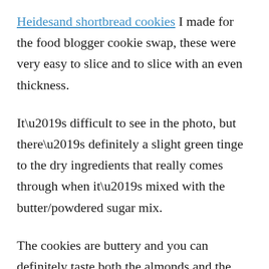Heidesand shortbread cookies I made for the food blogger cookie swap, these were very easy to slice and to slice with an even thickness.
It’s difficult to see in the photo, but there’s definitely a slight green tinge to the dry ingredients that really comes through when it’s mixed with the butter/powdered sugar mix.
The cookies are buttery and you can definitely taste both the almonds and the matcha. They’re good although I’m not sure I think that they’re really anything special. …but you know I’m going to eat them all.
Soundtrack: The Twilight Singers’ “Powder Burns”